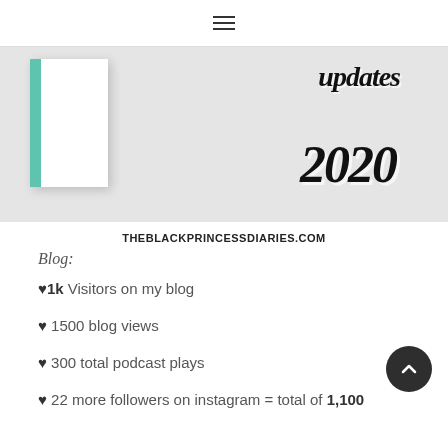≡
[Figure (photo): Blog post hero image showing a notebook with teal/green spine on the left and bold italic text reading 'updates 2020' on a light gray background]
THEBLACKPRINCESSDIARIES.COM
Blog:
♥1k Visitors on my blog
♥ 1500 blog views
♥ 300 total podcast plays
♥ 22 more followers on instagram = total of 1,100